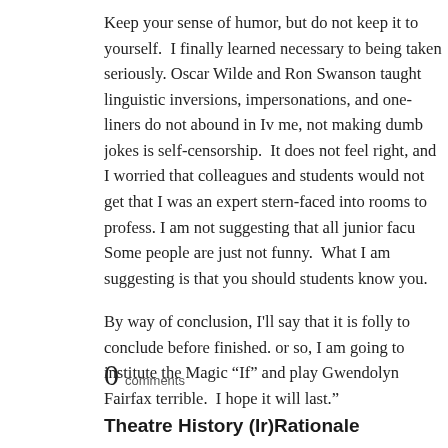Keep your sense of humor, but do not keep it to yourself.  I finally learned necessary to being taken seriously. Oscar Wilde and Ron Swanson taught linguistic inversions, impersonations, and one-liners do not abound in Iv me, not making dumb jokes is self-censorship.  It does not feel right, and I worried that colleagues and students would not get that I was an expert stern-faced into rooms to profess. I am not suggesting that all junior facu Some people are just not funny.  What I am suggesting is that you should students know you.
By way of conclusion, I'll say that it is folly to conclude before finished. or so, I am going to institute the Magic “If” and play Gwendolyn Fairfax terrible.  I hope it will last.”
0 comments
Theatre History (Ir)Rationale